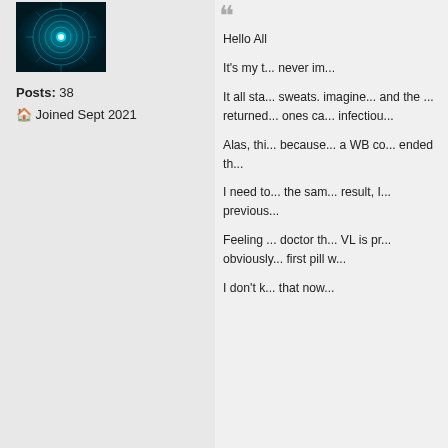[Figure (photo): User avatar: teal/cyan glowing circular tech pattern on dark background]
Posts: 38
🏠 Joined Sept 2021
Hello All

It's my t... never im...

It all sta... sweats. imagine... and the ... returned... ones ca... infectiou...

Alas, thi... because... a WB co... ended th...

I need to... the sam... result, I... previous...

Feeling ... doctor th... VL is pr... obviously... first pill w...

I don't k... that now...